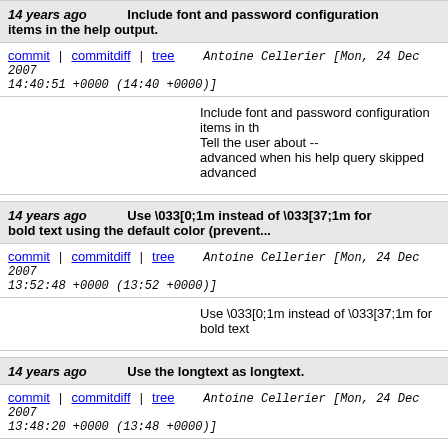14 years ago   Include font and password configuration items in the help output.
commit | commitdiff | tree   Antoine Cellerier [Mon, 24 Dec 2007 14:40:51 +0000 (14:40 +0000)]
Include font and password configuration items in the help output. Tell the user about -- advanced when his help query skipped advanced
14 years ago   Use \033[0;1m instead of \033[37;1m for bold text using the default color (prevent...
commit | commitdiff | tree   Antoine Cellerier [Mon, 24 Dec 2007 13:52:48 +0000 (13:52 +0000)]
Use \033[0;1m instead of \033[37;1m for bold text
14 years ago   Use the longtext as longtext.
commit | commitdiff | tree   Antoine Cellerier [Mon, 24 Dec 2007 13:48:20 +0000 (13:48 +0000)]
Use the longtext as longtext.
14 years ago   services_discovery/shout.c: No need to incref. (fix a memleak).